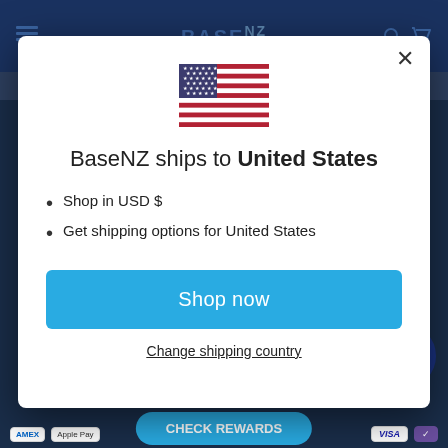[Figure (screenshot): BaseNZ website background with dark navy header, logo, and dark background]
[Figure (illustration): United States flag icon]
BaseNZ ships to United States
Shop in USD $
Get shipping options for United States
Shop now
Change shipping country
CHECK REWARDS